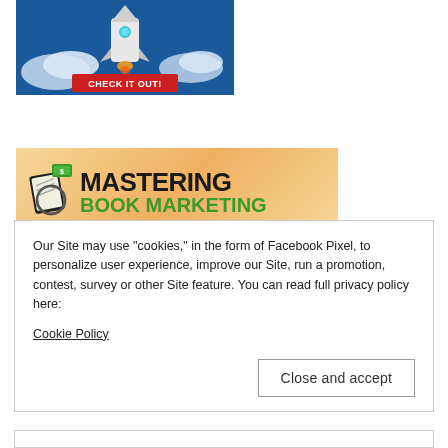[Figure (illustration): Rocket launching with clouds on blue background with red 'CHECK IT OUT!' button]
[Figure (logo): Mastering Book Marketing logo with book/tablet icon on orange gradient background]
Our Site may use "cookies," in the form of Facebook Pixel, to personalize user experience, improve our Site, run a promotion, contest, survey or other Site feature. You can read full privacy policy here:
Cookie Policy
Close and accept